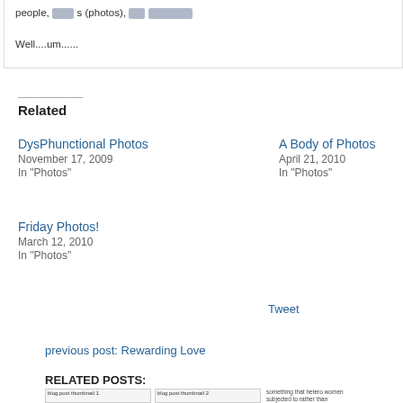people, [redacted] s (photos), [redacted] [redacted] [redacted]

Well....um......
Related
DysPhunctional Photos
November 17, 2009
In "Photos"
A Body of Photos
April 21, 2010
In "Photos"
Friday Photos!
March 12, 2010
In "Photos"
Random Post
Tweet
previous post: Rewarding Love
RELATED POSTS:
[Figure (screenshot): Three thumbnail images of related blog posts at the bottom of the page]